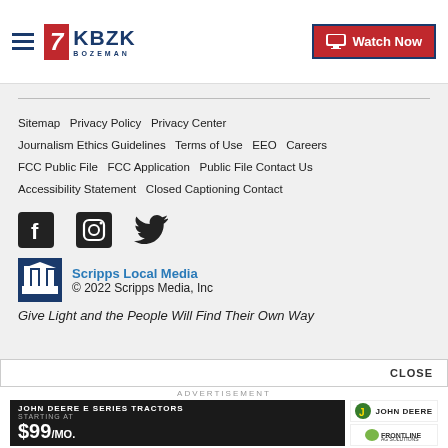[Figure (logo): KBZK Bozeman Channel 7 logo with hamburger menu and Watch Now button]
Sitemap   Privacy Policy   Privacy Center   Journalism Ethics Guidelines   Terms of Use   EEO   Careers   FCC Public File   FCC Application   Public File Contact Us   Accessibility Statement   Closed Captioning Contact
[Figure (other): Social media icons: Facebook, Instagram, Twitter]
[Figure (logo): Scripps Local Media logo]
Scripps Local Media
© 2022 Scripps Media, Inc
Give Light and the People Will Find Their Own Way
CLOSE
ADVERTISEMENT
[Figure (other): John Deere E Series Tractors advertisement: Starting at $99/mo. John Deere and Frontline Ag Solutions logos]